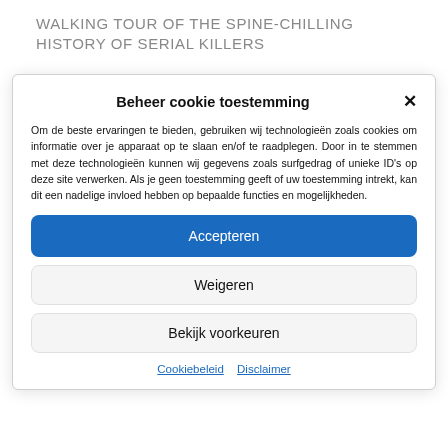WALKING TOUR OF THE SPINE-CHILLING HISTORY OF SERIAL KILLERS
Beheer cookie toestemming
Om de beste ervaringen te bieden, gebruiken wij technologieën zoals cookies om informatie over je apparaat op te slaan en/of te raadplegen. Door in te stemmen met deze technologieën kunnen wij gegevens zoals surfgedrag of unieke ID's op deze site verwerken. Als je geen toestemming geeft of uw toestemming intrekt, kan dit een nadelige invloed hebben op bepaalde functies en mogelijkheden.
Accepteren
Weigeren
Bekijk voorkeuren
Cookiebeleid   Disclaimer